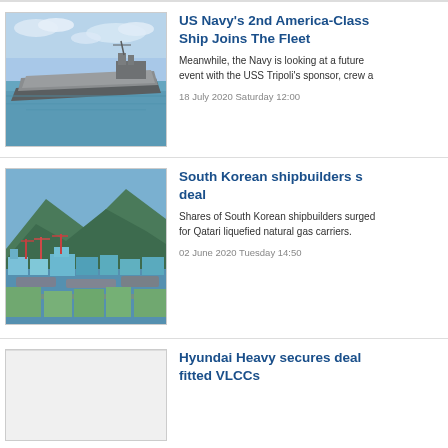[Figure (photo): Aerial photo of a US Navy America-class amphibious assault ship at sea]
US Navy's 2nd America-Class Ship Joins The Fleet
Meanwhile, the Navy is looking at a future event with the USS Tripoli's sponsor, crew a
18 July 2020 Saturday 12:00
[Figure (photo): Aerial photo of a South Korean shipbuilding facility with ships and cranes along the coast]
South Korean shipbuilders s deal
Shares of South Korean shipbuilders surged for Qatari liquefied natural gas carriers.
02 June 2020 Tuesday 14:50
[Figure (photo): Partially visible photo (white/blank) for third news item]
Hyundai Heavy secures deal fitted VLCCs